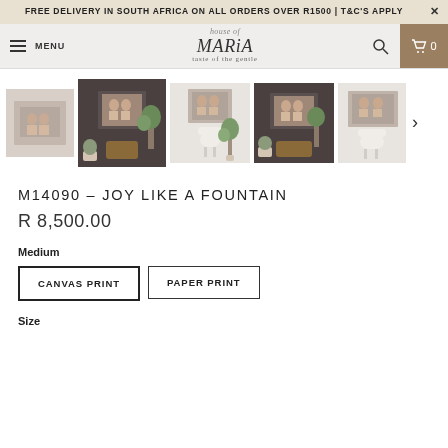FREE DELIVERY IN SOUTH AFRICA ON ALL ORDERS OVER R1500 | T&C'S APPLY
[Figure (screenshot): Website navigation bar with hamburger menu, MENU text, House of Maria logo in center, search icon, and cart icon showing 0]
[Figure (photo): Gallery of 5 product thumbnail images showing artwork 'Joy Like A Fountain' in different room settings - children sitting together, displayed on walls in various interior scenes]
M14090 - JOY LIKE A FOUNTAIN
R 8,500.00
Medium
CANVAS PRINT
PAPER PRINT
Size